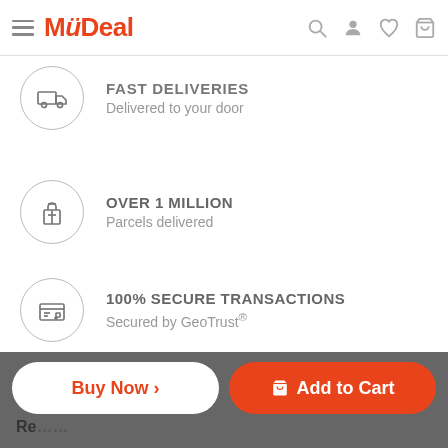MyDeal
FAST DELIVERIES - Delivered to your door
OVER 1 MILLION - Parcels delivered
100% SECURE TRANSACTIONS - Secured by GeoTrust®
Have a question about this product? Click here
Share:
Buy Now > | Add to Cart